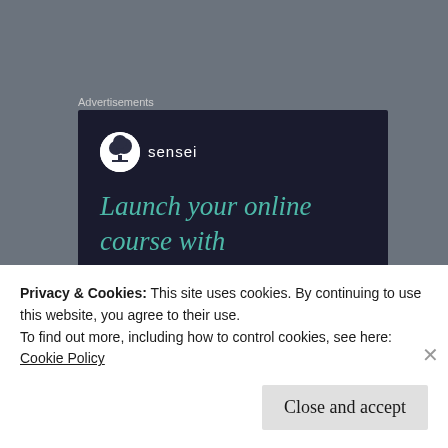Advertisements
[Figure (illustration): Sensei advertisement banner with dark navy background showing the Sensei logo (tree icon in white circle) and tagline 'Launch your online course with WordPress' in teal italic text]
Michelle
Privacy & Cookies: This site uses cookies. By continuing to use this website, you agree to their use.
To find out more, including how to control cookies, see here:
Cookie Policy
Close and accept